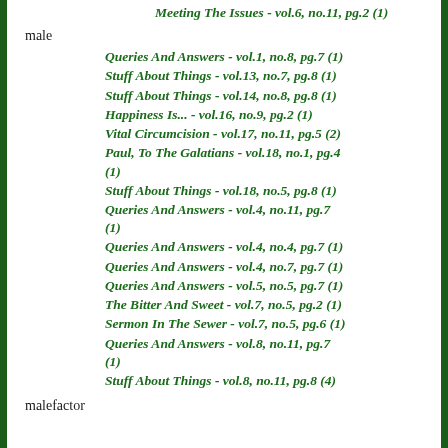Meeting The Issues - vol.6, no.11, pg.2 (1)
male
Queries And Answers - vol.1, no.8, pg.7 (1)
Stuff About Things - vol.13, no.7, pg.8 (1)
Stuff About Things - vol.14, no.8, pg.8 (1)
Happiness Is... - vol.16, no.9, pg.2 (1)
Vital Circumcision - vol.17, no.11, pg.5 (2)
Paul, To The Galatians - vol.18, no.1, pg.4 (1)
Stuff About Things - vol.18, no.5, pg.8 (1)
Queries And Answers - vol.4, no.11, pg.7 (1)
Queries And Answers - vol.4, no.4, pg.7 (1)
Queries And Answers - vol.4, no.7, pg.7 (1)
Queries And Answers - vol.5, no.5, pg.7 (1)
The Bitter And Sweet - vol.7, no.5, pg.2 (1)
Sermon In The Sewer - vol.7, no.5, pg.6 (1)
Queries And Answers - vol.8, no.11, pg.7 (1)
Stuff About Things - vol.8, no.11, pg.8 (4)
malefactor